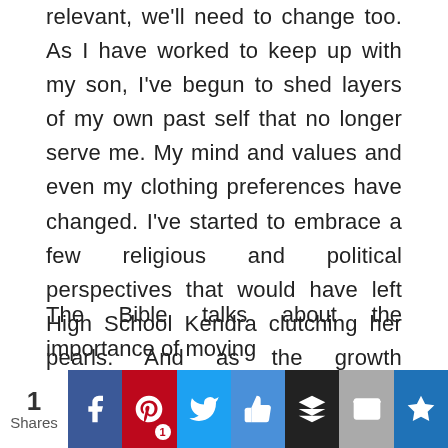relevant, we'll need to change too. As I have worked to keep up with my son, I've begun to shed layers of my own past self that no longer serve me. My mind and values and even my clothing preferences have changed. I've started to embrace a few religious and political perspectives that would have left High School Kendra clutching her pearls. And as the growth continues, I'm increasingly aware of more changes that lie ahead, of how much more work still needs to be done.
The Bible talks about the importance of moving
1 Shares | Facebook | Pinterest 1 | Twitter | Like | Buffer | Email | Flipboard